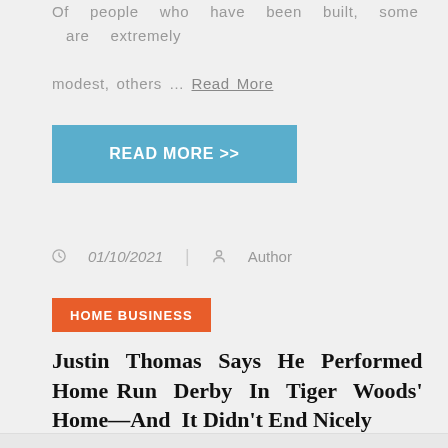Of people who have been built, some are extremely modest, others … Read More
READ MORE >>
01/10/2021 | Author
HOME BUSINESS
Justin Thomas Says He Performed Home Run Derby In Tiger Woods' Home—And It Didn't End Nicely